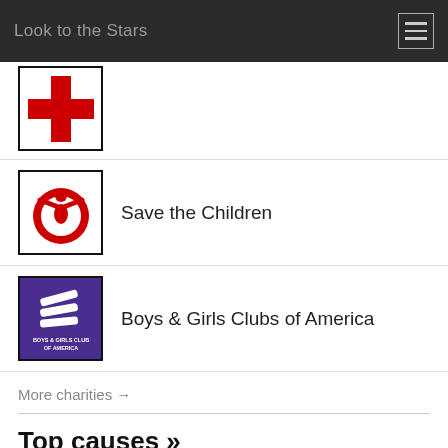Look to the Stars
[Figure (logo): Red Cross logo (partially visible at top of page — red cross symbol on white background with black border)]
[Figure (logo): Save the Children logo — red figure with arms raised inside a red circle, black border, white background]
Save the Children
[Figure (logo): Boys & Girls Clubs of America logo — white stacked hands icon on purple/dark blue background with text 'Boys & Girls Club of America']
Boys & Girls Clubs of America
More charities →
Top causes »
AIDS & HIV
Animals
At-Risk/Disadvantaged Youths
Cancer